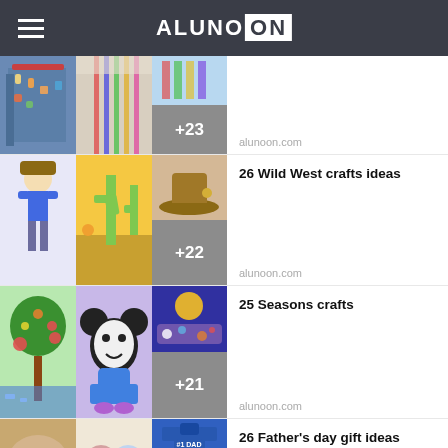ALUNOON
[Figure (screenshot): Craft thumbnails grid for first list item (partial, cut off at top), with +23 badge]
alunoon.com
[Figure (screenshot): Craft thumbnails grid for '26 Wild West crafts ideas' with +22 badge]
26 Wild West crafts ideas
alunoon.com
[Figure (screenshot): Craft thumbnails grid for '25 Seasons crafts' with +21 badge]
25 Seasons crafts
alunoon.com
[Figure (screenshot): Craft thumbnails grid for '26 Father's day gift ideas' (partial, cut off at bottom)]
26 Father's day gift ideas